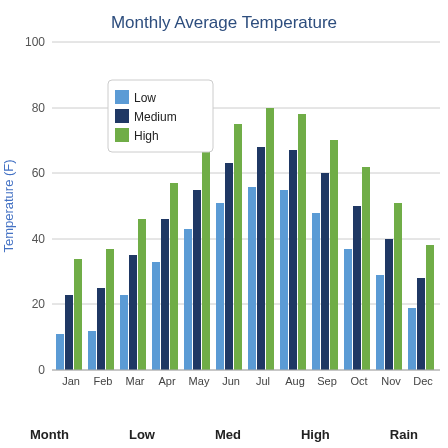[Figure (grouped-bar-chart): Monthly Average Temperature]
| Month | Low | Med | High | Rain |
| --- | --- | --- | --- | --- |